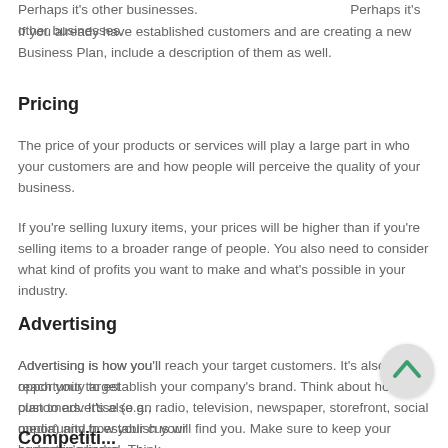Your customer also doesn't need to be a single person. Perhaps it's other businesses.
If you already have established customers and are creating a new Business Plan, include a description of them as well.
Pricing
The price of your products or services will play a large part in who your customers are and how people will perceive the quality of your business.
If you're selling luxury items, your prices will be higher than if you're selling items to a broader range of people. You also need to consider what kind of profits you want to make and what's possible in your industry.
Advertising
Advertising is how you'll reach your target customers. It's also an opportunity to establish your company's brand. Think about how you plan to advertise (e.g., radio, television, newspaper, storefront, social media) and how your cus will find you. Make sure to keep your budget in mind a
Competiti...